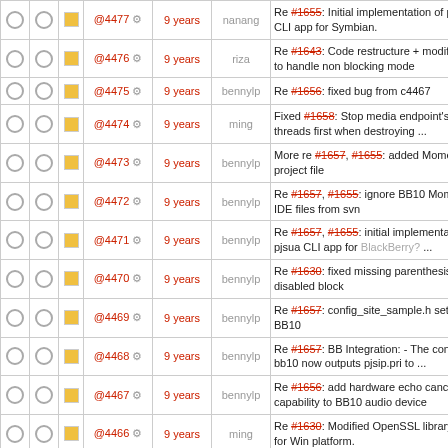|  |  |  | Rev | Age | Author | Log Message |
| --- | --- | --- | --- | --- | --- | --- |
| ○ ○ | □ | @4477 ⚙ | 9 years | nanang | Re #1655: Initial implementation of pjsua CLI app for Symbian. |
| ○ ○ | □ | @4476 ⚙ | 9 years | riza | Re #1643: Code restructure + modification to handle non blocking mode |
| ○ ○ | □ | @4475 ⚙ | 9 years | bennylp | Re #1656: fixed bug from c4467 |
| ○ ○ | □ | @4474 ⚙ | 9 years | ming | Fixed #1658: Stop media endpoint's worker threads first when destroying ... |
| ○ ○ | □ | @4473 ⚙ | 9 years | bennylp | More re #1657, #1655: added Momentics project file |
| ○ ○ | □ | @4472 ⚙ | 9 years | bennylp | Re #1657, #1655: ignore BB10 Momentics IDE files from svn |
| ○ ○ | □ | @4471 ⚙ | 9 years | bennylp | Re #1657, #1655: initial implementation of pjsua CLI app for BlackBerry? ... |
| ○ ○ | □ | @4470 ⚙ | 9 years | bennylp | Re #1630: fixed missing parenthesis in disabled block |
| ○ ○ | □ | @4469 ⚙ | 9 years | bennylp | Re #1657: config_site_sample.h settings for BB10 |
| ○ ○ | □ | @4468 ⚙ | 9 years | bennylp | Re #1657: BB Integration: - The configure-bb10 now outputs pjsip.pri to ... |
| ○ ○ | □ | @4467 ⚙ | 9 years | bennylp | Re #1656: add hardware echo cancellation capability to BB10 audio device |
| ○ ○ | □ | @4466 ⚙ | 9 years | ming | Re #1630: Modified OpenSSL library names for Win platform. |
| ○ ○ | □ | @4465 ⚙ | 9 years | ming | Re #1655: Moved the definition |